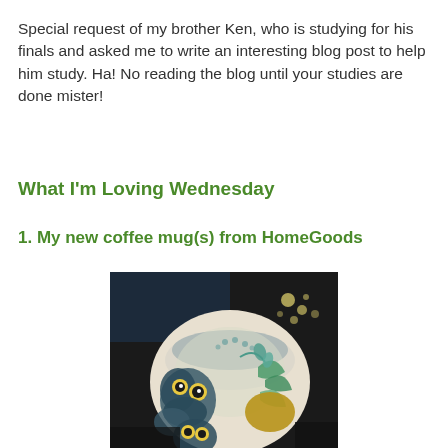Special request of my brother Ken, who is studying for his finals and asked me to write an interesting blog post to help him study. Ha! No reading the blog until your studies are done mister!
What I'm Loving Wednesday
1. My new coffee mug(s) from HomeGoods
[Figure (photo): A decorative ceramic coffee mug with owl and peacock designs in teal and blue colors, photographed against a dark background with some bokeh lights visible.]